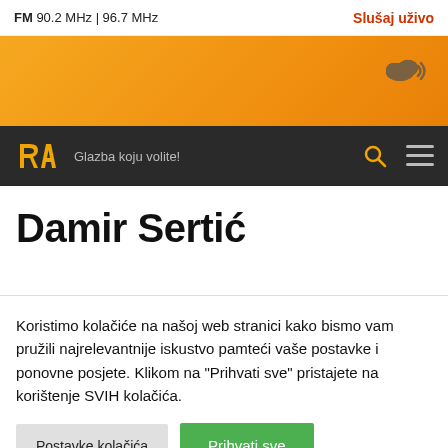FM 90.2 MHz | 96.7 MHz    Slušaj uživo
[Figure (screenshot): Orange gradient banner with cloud/radio streaming icon in bottom right]
[Figure (logo): RA radio logo in yellow on dark background, with tagline 'Glazba koju volite!' and search/menu icons]
Damir Sertić
Koristimo kolačiće na našoj web stranici kako bismo vam pružili najrelevantnije iskustvo pamteći vaše postavke i ponovne posjete. Klikom na "Prihvati sve" pristajete na korištenje SVIH kolačića.
Postavke kolačića
Prihvati sve